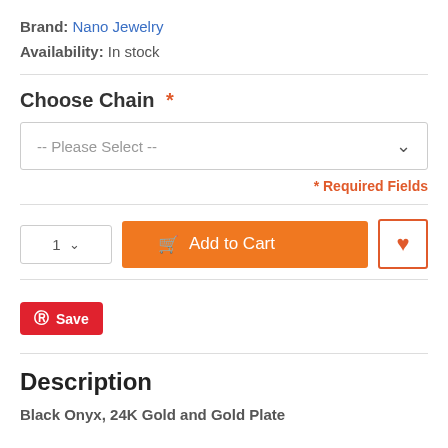Brand: Nano Jewelry
Availability: In stock
Choose Chain *
-- Please Select --
* Required Fields
[Figure (screenshot): Add to Cart button with quantity selector and wishlist heart button]
[Figure (screenshot): Pinterest Save button in red]
Description
Black Onyx, 24K Gold and Gold Plate